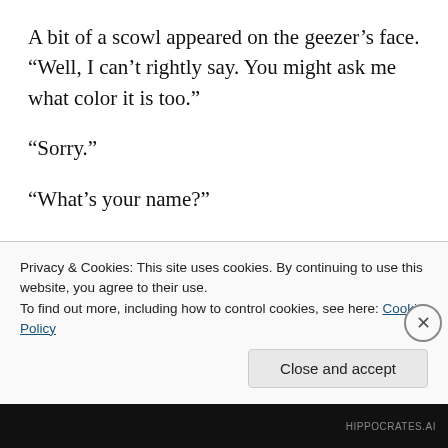A bit of a scowl appeared on the geezer’s face. “Well, I can’t rightly say. You might ask me what color it is too.”
“Sorry.”
“What’s your name?”
“Matt,” Trey automatically lied. It wasn’t even something he had to think about.
“Well, Matt, if you get lost, ask for directions at any house you pass. They’ll talk you in the right direction.”
Privacy & Cookies: This site uses cookies. By continuing to use this website, you agree to their use.
To find out more, including how to control cookies, see here: Cookie Policy
HIPPOCRATES.AI